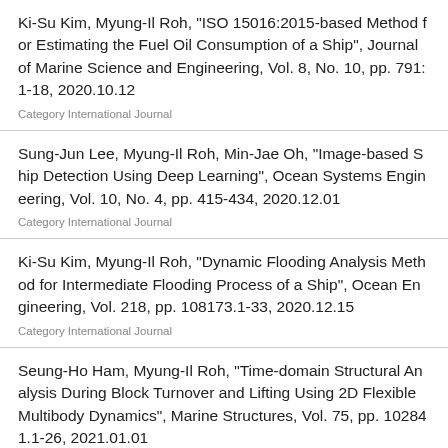Ki-Su Kim, Myung-Il Roh, "ISO 15016:2015-based Method for Estimating the Fuel Oil Consumption of a Ship", Journal of Marine Science and Engineering, Vol. 8, No. 10, pp. 791:1-18, 2020.10.12
Category International Journal
Sung-Jun Lee, Myung-Il Roh, Min-Jae Oh, "Image-based Ship Detection Using Deep Learning", Ocean Systems Engineering, Vol. 10, No. 4, pp. 415-434, 2020.12.01
Category International Journal
Ki-Su Kim, Myung-Il Roh, "Dynamic Flooding Analysis Method for Intermediate Flooding Process of a Ship", Ocean Engineering, Vol. 218, pp. 108173.1-33, 2020.12.15
Category International Journal
Seung-Ho Ham, Myung-Il Roh, "Time-domain Structural Analysis During Block Turnover and Lifting Using 2D Flexible Multibody Dynamics", Marine Structures, Vol. 75, pp. 102841.1-26, 2021.01.01
Category International Journal